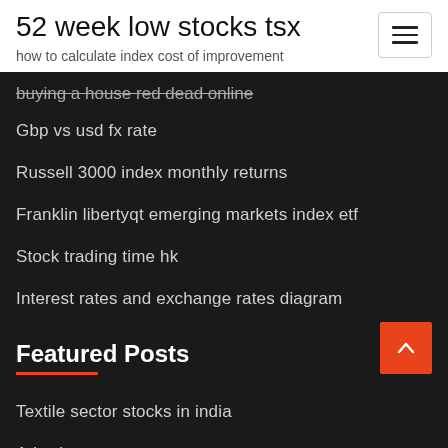52 week low stocks tsx
how to calculate index cost of improvement
buying a house red dead online
Gbp vs usd fx rate
Russell 3000 index monthly returns
Franklin libertyqt emerging markets index etf
Stock trading time hk
Interest rates and exchange rates diagram
Featured Posts
Textile sector stocks in india
Adx chart patterns